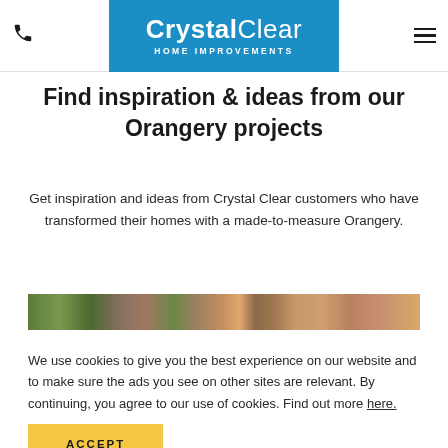Crystal Clear Home Improvements – navigation bar with phone icon, logo, and menu icon
Find inspiration & ideas from our Orangery projects
Get inspiration and ideas from Crystal Clear customers who have transformed their homes with a made-to-measure Orangery.
[Figure (photo): Partial view of an orangery/conservatory exterior with garden foliage and brick/tile elements visible as a cropped horizontal strip]
We use cookies to give you the best experience on our website and to make sure the ads you see on other sites are relevant. By continuing, you agree to our use of cookies. Find out more here.